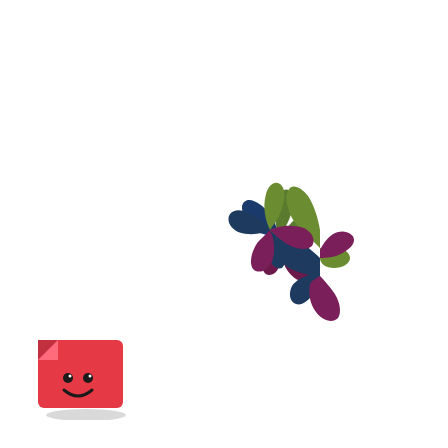[Figure (logo): A pinwheel/swirl logo made of three curved blade shapes in dark navy blue, olive/dark green, and dark purple/maroon colors, arranged in a rotating pinwheel pattern around a central point.]
[Figure (logo): A small red square mascot/logo in the bottom left corner, resembling a friendly character with a smiley face, with a folded corner, casting a shadow.]